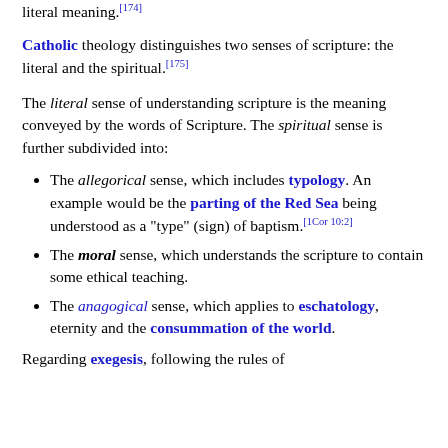literal meaning.[174]
Catholic theology distinguishes two senses of scripture: the literal and the spiritual.[175]
The literal sense of understanding scripture is the meaning conveyed by the words of Scripture. The spiritual sense is further subdivided into:
The allegorical sense, which includes typology. An example would be the parting of the Red Sea being understood as a "type" (sign) of baptism.[1Cor 10:2]
The moral sense, which understands the scripture to contain some ethical teaching.
The anagogical sense, which applies to eschatology, eternity and the consummation of the world.
Regarding exegesis, following the rules of